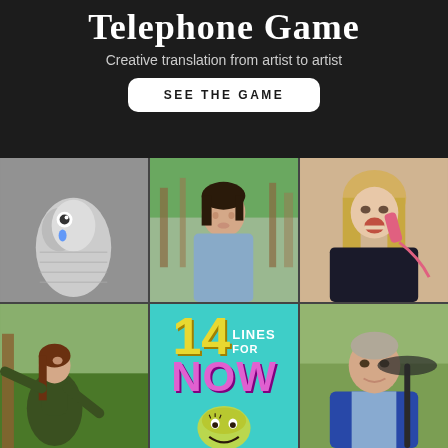Telephone Game
Creative translation from artist to artist
SEE THE GAME
[Figure (photo): Black and white photo of a sock puppet with googly eyes and a blue teardrop]
[Figure (photo): Young person with dark hair in a blue shirt standing outdoors among trees]
[Figure (photo): Blonde woman speaking animatedly on a pink telephone handset]
[Figure (photo): Young woman in dark green velvet dress dancing outdoors on grass with arms spread]
[Figure (illustration): Colorful poster reading '14 Lines for NOW' on teal background with illustrated face]
[Figure (photo): Middle-aged man in blue blazer holding an umbrella outdoors]